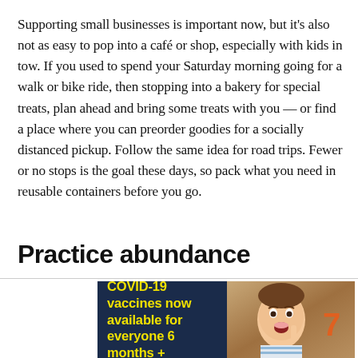Supporting small businesses is important now, but it's also not as easy to pop into a café or shop, especially with kids in tow. If you used to spend your Saturday morning going for a walk or bike ride, then stopping into a bakery for special treats, plan ahead and bring some treats with you — or find a place where you can preorder goodies for a socially distanced pickup. Follow the same idea for road trips. Fewer or no stops is the goal these days, so pack what you need in reusable containers before you go.
Practice abundance
[Figure (other): Advertisement banner split into two panels: left panel with dark navy background showing yellow bold text 'COVID-19 vaccines now available for everyone 6 months +'; right panel showing a photo of a young boy with mouth open in surprise, with the number 7 visible.]